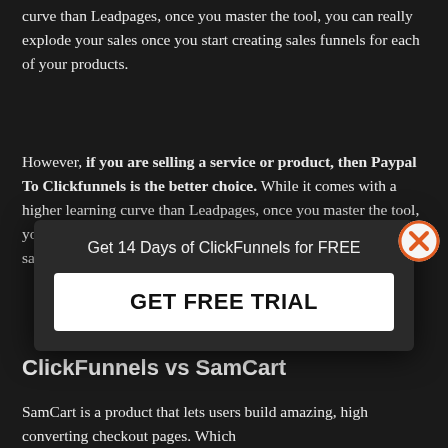curve than Leadpages, once you master the tool, you can really explode your sales once you start creating sales funnels for each of your products.
However, if you are selling a service or product, then Paypal To Clickfunnels is the better choice. While it comes with a higher learning curve than Leadpages, once you master the tool, you can really explode your sales as soon as you begin creating sales funnels for each of your products.
[Figure (other): Modal popup overlay with text 'Get 14 Days of ClickFunnels for FREE' and a white button labeled 'GET FREE TRIAL', with an orange X close button in the top right corner.]
ClickFunnels vs SamCart
SamCart is a product that lets users build amazing, high converting checkout pages. Which